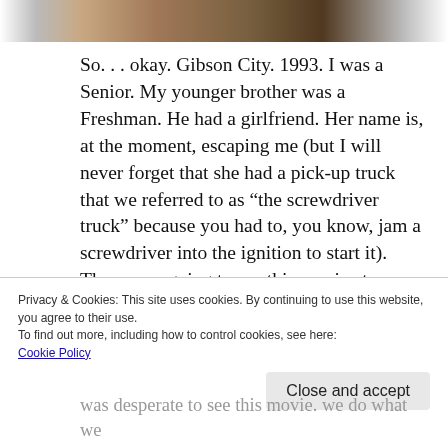[Figure (photo): Partial photo strip at top of page, showing a cropped outdoor scene]
So. . . okay. Gibson City. 1993. I was a Senior. My younger brother was a Freshman. He had a girlfriend. Her name is, at the moment, escaping me (but I will never forget that she had a pick-up truck that we referred to as “the screwdriver truck” because you had to, you know, jam a screwdriver into the ignition to start it). They were going to see this movie at
Privacy & Cookies: This site uses cookies. By continuing to use this website, you agree to their use.
To find out more, including how to control cookies, see here:
Cookie Policy

Close and accept
was desperate to see this movie. we do what we